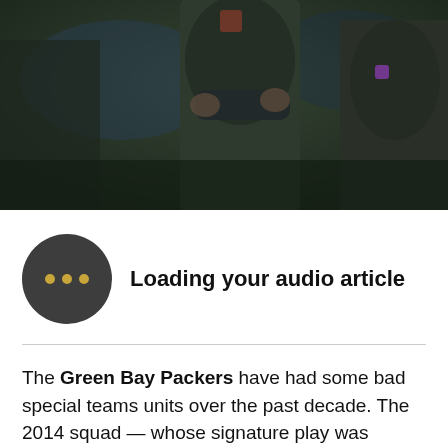[Figure (photo): Dark photo of people in dark jackets on a sports field, blurred background with blue and green tones]
Loading your audio article
The Green Bay Packers have had some bad special teams units over the past decade. The 2014 squad — whose signature play was Brandon Bostick foolishly trying to recover an onside kick — got then-coordinator Shawn Slocum fired.